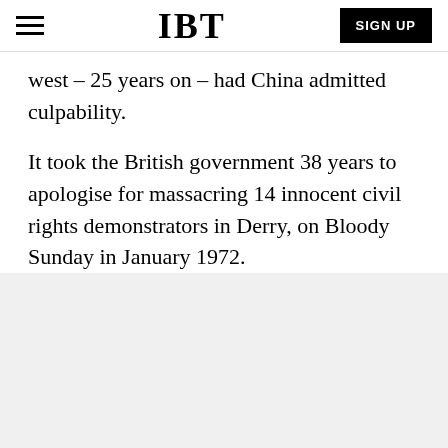IBT | SIGN UP
west – 25 years on – had China admitted culpability.
It took the British government 38 years to apologise for massacring 14 innocent civil rights demonstrators in Derry, on Bloody Sunday in January 1972.